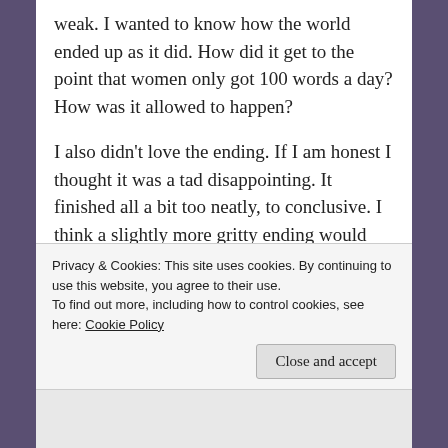weak. I wanted to know how the world ended up as it did. How did it get to the point that women only got 100 words a day? How was it allowed to happen?
I also didn't love the ending. If I am honest I thought it was a tad disappointing. It finished all a bit too neatly, to conclusive. I think a slightly more gritty ending would have possibly suited the story more.
But even with a few (small) criticisms – I LOVED it! LOVED it!
Privacy & Cookies: This site uses cookies. By continuing to use this website, you agree to their use.
To find out more, including how to control cookies, see here: Cookie Policy
Close and accept